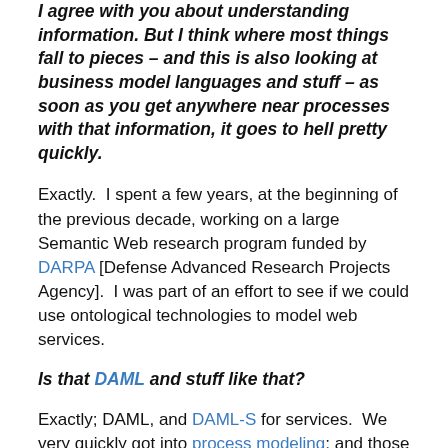I agree with you about understanding information. But I think where most things fall to pieces – and this is also looking at business model languages and stuff – as soon as you get anywhere near processes with that information, it goes to hell pretty quickly.
Exactly.  I spent a few years, at the beginning of the previous decade, working on a large Semantic Web research program funded by DARPA [Defense Advanced Research Projects Agency].  I was part of an effort to see if we could use ontological technologies to model web services.
Is that DAML and stuff like that?
Exactly; DAML, and DAML-S for services.  We very quickly got into process modeling; and those kinds of things get very difficult...